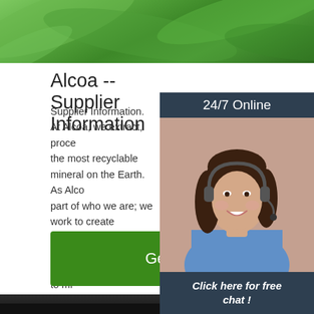[Figure (photo): Green tropical leaves background image at top of page]
Alcoa -- Supplier Information
Supplier Information. At Alcoa, we extract, process the most recyclable mineral on the Earth. As Alcoa part of who we are; we work to create sustainable the communities in which we operate, and to minimize environmental, health and well-being impacts.
[Figure (infographic): Sidebar widget with '24/7 Online' header, photo of woman with headset, 'Click here for free chat!' text, and orange QUOTATION button]
[Figure (photo): Bottom photo showing white powder/mineral substance on dark surface with TOP logo overlay]